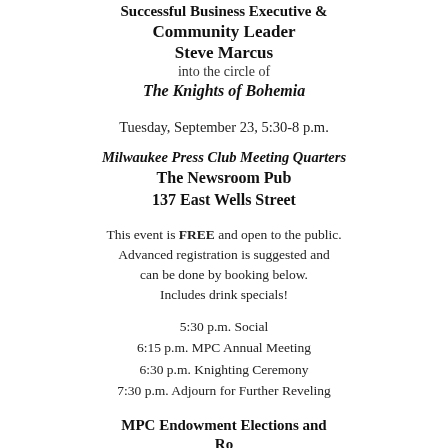Successful Business Executive & Community Leader
Steve Marcus
into the circle of
The Knights of Bohemia
Tuesday, September 23, 5:30-8 p.m.
Milwaukee Press Club Meeting Quarters
The Newsroom Pub
137 East Wells Street
This event is FREE and open to the public. Advanced registration is suggested and can be done by booking below. Includes drink specials!
5:30 p.m. Social
6:15 p.m. MPC Annual Meeting
6:30 p.m. Knighting Ceremony
7:30 p.m. Adjourn for Further Reveling
MPC Endowment Elections and